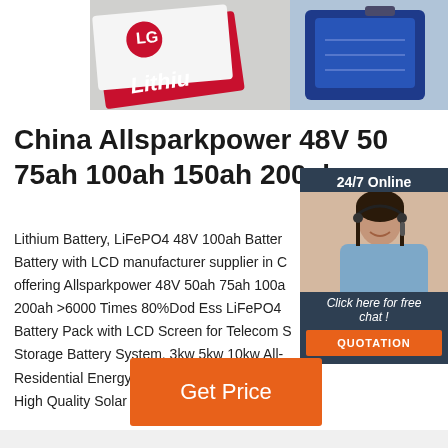[Figure (photo): Product photo showing LG lithium battery cards/cells on the left (red and white) and a blue battery pack on the right]
China Allsparkpower 48V 50ah 75ah 100ah 150ah 200ah
Lithium Battery, LiFePO4 48V 100ah Battery Pack with LCD manufacturer supplier in China, offering Allsparkpower 48V 50ah 75ah 100ah 200ah >6000 Times 80%Dod Ess LiFePO4 Battery Pack with LCD Screen for Telecom Storage Battery System, 3kw 5kw 10kw All- Residential Energy Storage System for Home, High Quality Solar Energy Storage Systems
[Figure (photo): Chat widget with woman wearing headset, 24/7 Online header, Click here for free chat text, and QUOTATION button]
Get Price